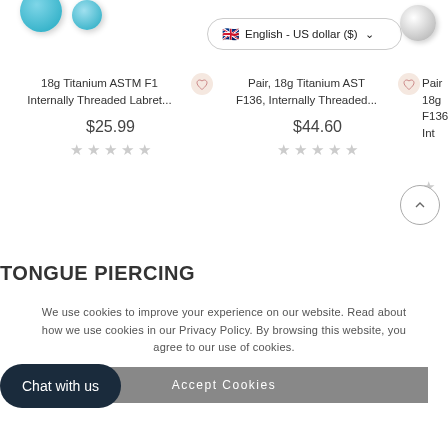[Figure (screenshot): Language selector dropdown showing UK flag with 'English - US dollar ($)' and chevron]
18g Titanium ASTM F1 Internally Threaded Labret...
$25.99
Pair, 18g Titanium AST F136, Internally Threaded...
$44.60
Pair 18g F136, Int
TONGUE PIERCING
We use cookies to improve your experience on our website. Read about how we use cookies in our Privacy Policy. By browsing this website, you agree to our use of cookies.
Accept Cookies
Chat with us